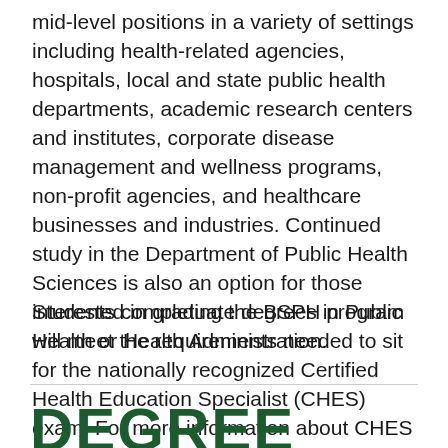mid-level positions in a variety of settings including health-related agencies, hospitals, local and state public health departments, academic research centers and institutes, corporate disease management and wellness programs, non-profit agencies, and healthcare businesses and industries. Continued study in the Department of Public Health Sciences is also an option for those interested in graduate degrees in Public Health or Health Administration.
Students completing the BSPH program will meet the requirements needed to sit for the nationally recognized Certified Health Education Specialist (CHES) exam. For more information about CHES certification, visit NCHEC.
DEGREE